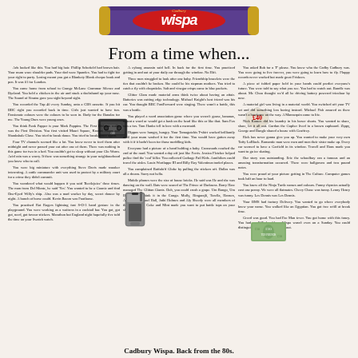[Figure (photo): Cadbury Wispa chocolate bar wrapper in purple and red]
From a time when...
Ads looked like this. You had big hair. Phillip Schofield had brown hair. Your mum wore shoulder pads. Your dad wore Spondes. You had to fight for your right to party. Losing meant you got a Blankety Blank cheque book and pen. It was 01 for London. You came home from school to Grange McLane Grammar Silence and Byeland. You held a chicken in the air and stuck a dachshund up your nose. The Sound of Sinatra gave you sight beyond sight. You recorded the Top 40 every Sunday, onto a CBS cassette. If you hit BBC right you recorded back in time. Girls just wanted to have fun. Passionate colours were the colours to be seen in. Body for the Banalas for me. The Young Ones were young ones. You think Punk Papper is your Mark Poppins. The First Division really was the First Division. You first visited Mauri Square, Kronus Shops and Shankshale Close. You tried to break dance. You tried to break dance again. Four TV channels seemed like a lot. You knew never to feed them after midnight and never passed your cat after one of them. There was nothing in this game for two in a bed. You couldn't get to sleep without your Glo Worm. Acid rain was a worry. If there was something strange in your neighbourhood you knew who to call. You were big miniature with everything Steve Davis made snooker interesting. A cattle commander unit was used to protect by a military court for a crime they didn't commit. You wondered what would happen if you said 'Beetlejuice' three times. The man from Del Monte, he said 'Yes'. You wanted to be a Goonig and find One-Eyed Willy's ship. Also was a mad worker by day, secret dancer by night. A bunch of horse could. Kevin Bacon was Footloose. You practised Rat Rogers lightning fast S-O-3 hand gesture in the playground. You were working as a waitress in a cocktail bar. You got, got got, need, got favour stickers. Marathon but England night/hopefully five told the time on your Swatch watch.
A cyborg assassin said hell. In back for the first time. You practiced getting in and out of your daily car through the window. No Hifi. Three men struggled to look after one baby. Friendship bracelets were the ties that couldn't be broken. She could be his stepman mothers. You tried to catch a fly with chopsticks. Salt and vinegar crisps came in blue packets. Glitter Glam made material arms think twice about having an affair. Batteries was cutting edge technology. Michael Knight's best friend was his car. You thought BBC Fast Forward were singing. There wasn't a bottle, this was a bottle. You played a word association game where you weren't goose, bananas, repeat a word or would get a bash on the head. Like this or like that. Sam Fox was a fox. Tom Hanks fell in love with a mermaid. Hippos were hungry, hungry. Your Tamagotchis T-shirt worked brilliantly until your mum washed it for the first time. You would have gotten away with it if it hadn't been for those meddling kids. Everyone had a picture of a hand holding a baby. Crossroads reached the end of the road. You wanted a day off just like Ferris. Jessica Fletcher helped police find the 'real' killer. You collected Garbage Pail Kids. Annihilors could travel the aisles. Louis Wortluppe III and Billy Roy Valentinos traded places. You complained Buffalo'd Globe by pulling the stickers off. Dallas was all a dream. Sorry not hello.
You asked Bob for a 'P' please. You knew who the Cadby Cadbury was. You were going to live forever, you were going to learn how to fly. Floppy records never worked but made great Frisbees. A piece of folded paper held in your hands could predict everyone's future. You were told to say what you see. You had to watch out. Bundle was about. Mr. Choo thought we'd all be driving battery powered tricoloar by now. A material girl was living in a material world. You switched off your TV set and did something less boring instead. Michael Fish assured us there wasn't a hurricane on the way. A Mannequin came to life. Nick Kamen did his laundry in his boxer shorts. You wanted to share, share, let it all out. Gordon the Gopher lived in a brown cupboard. Zippy, George and Bungle shared a house with Geoffrey. Rick has never gonna give you up. You wanted to make your very own Taffy LoBlock. Romantic man were men and men their sister make up. Every car seemed to have a Garfield in its window. Travell and Hans made you want to go ice skating. Our story was outstanding, Eric the schoolboy ran a famous and an amazing transformation occurred. There were ballgowns and two pound notes. You were proud of your picture getting in The Culture. Computer games took half an hour to load. You knew all the Ninja Turtle names and colours. Funny rhymics actually cost one penny. We were all flatmates. Chevy Chase was funny. Lenny Henry was funny. Les Dennis was Les Dennis. Your BMS had factory Delivery. You wanted to go where everybody knew your name. You walked like an Egyptian. You got free refill at break time. Greed was good. You had Pac Man fever. You got home with this fancy. You had an E.T. lunchbox. Wispa wasn't even on a Sunday. You could distinguish that Wispa first came out.
Cadbury Wispa. Back from the 80s.